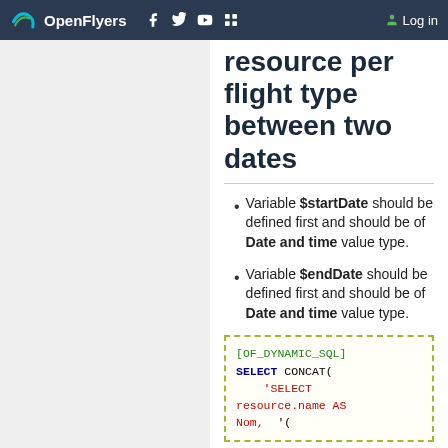OpenFlyers — Log in
resource per flight type between two dates
Variable $startDate should be defined first and should be of Date and time value type.
Variable $endDate should be defined first and should be of Date and time value type.
[OF_DYNAMIC_SQL] SELECT CONCAT( 'SELECT resource.name AS Nom, '(